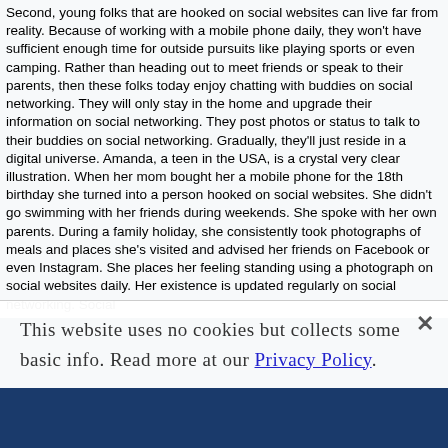Second, young folks that are hooked on social websites can live far from reality. Because of working with a mobile phone daily, they won't have sufficient enough time for outside pursuits like playing sports or even camping. Rather than heading out to meet friends or speak to their parents, then these folks today enjoy chatting with buddies on social networking. They will only stay in the home and upgrade their information on social networking. They post photos or status to talk to their buddies on social networking. Gradually, they'll just reside in a digital universe. Amanda, a teen in the USA, is a crystal very clear illustration. When her mom bought her a mobile phone for the 18th birthday she turned into a person hooked on social websites. She didn't go swimming with her friends during weekends. She spoke with her own parents. During a family holiday, she consistently took photographs of meals and places she's visited and advised her friends on Facebook or even Instagram. She places her feeling standing using a photograph on social websites daily. Her existence is updated regularly on social networking. Social
This website uses no cookies but collects some basic info. Read more at our Privacy Policy.